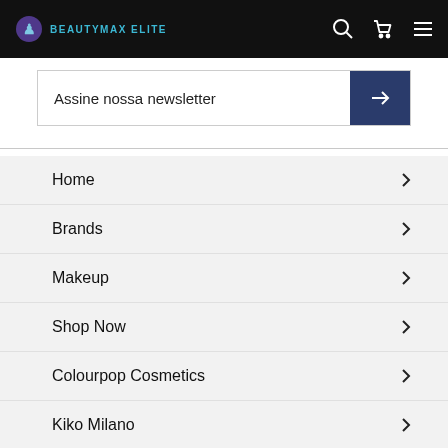BEAUTYMAX ELITE
Assine nossa newsletter
Home
Brands
Makeup
Shop Now
Colourpop Cosmetics
Kiko Milano